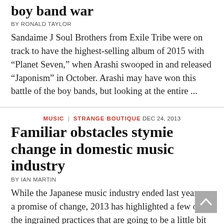boy band war
BY RONALD TAYLOR
Sandaime J Soul Brothers from Exile Tribe were on track to have the highest-selling album of 2015 with "Planet Seven," when Arashi swooped in and released "Japonism" in October. Arashi may have won this battle of the boy bands, but looking at the entire ...
MUSIC | STRANGE BOUTIQUE DEC 24, 2013
Familiar obstacles stymie change in domestic music industry
BY IAN MARTIN
While the Japanese music industry ended last year on a promise of change, 2013 has highlighted a few of the ingrained practices that are going to be a little bit more difficult to dislodge. One industry story that caught the interest of the international press ...